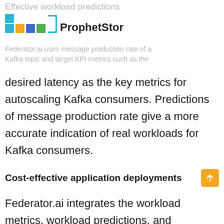Effective workload predictions
[Figure (logo): ProphetStor logo with colored blocks and brand name]
Federator.ai uses message production rate of a Kafka topic and target KPI metrics such as the desired latency as the key metrics for autoscaling Kafka consumers. Predictions of message production rate give a more accurate indication of real workloads for Kafka consumers.
Cost-effective application deployments
Federator.ai integrates the workload metrics, workload predictions, and application KPI in deciding the right number of replicas and achieve more cost-effective application